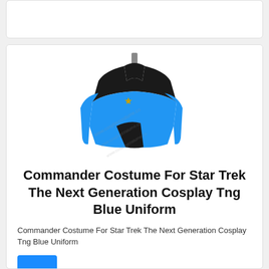[Figure (photo): Product card placeholder at top, empty white card]
[Figure (photo): Blue Star Trek TNG Commander uniform jacket on a headless mannequin stand. Blue body with black yoke across shoulders and chest, gold Starfleet insignia badge on left chest, high black collar. Watermark text visible across image.]
Commander Costume For Star Trek The Next Generation Cosplay Tng Blue Uniform
Commander Costume For Star Trek The Next Generation Cosplay Tng Blue Uniform